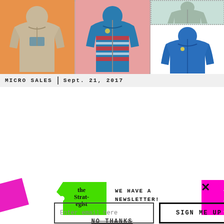[Figure (photo): Three Patagonia fleece jackets: tan fleece pullover on orange background, colorful patterned zip on pink background, blue full-zip on white background with small gray jacket inset top-right]
MICRO SALES  |  Sept. 21, 2017
[Figure (logo): The Strategist price-tag logo in green]
WE HAVE A NEWSLETTER!
Join our list for newsletter-only discounts on editor favorites
Plus actually good sales, expert picks, and excellent gift ideas
Enter email here
SIGN ME UP
NO THANKS